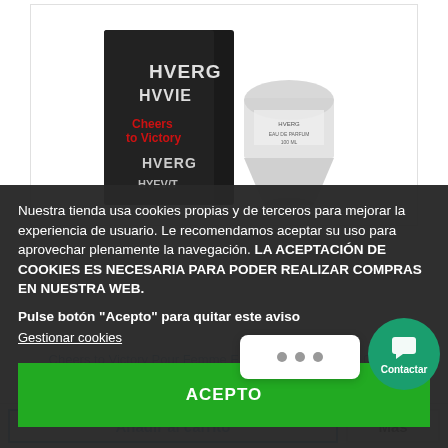[Figure (photo): Product photo showing a black box with 'HVERG' and 'Cheers to Victory' text, alongside a glass/crystal perfume bottle]
Nuestra tienda usa cookies propias y de terceros para mejorar la experiencia de usuario. Le recomendamos aceptar su uso para aprovechar plenamente la navegación. LA ACEPTACIÓN DE COOKIES ES NECESARIA PARA PODER REALIZAR COMPRAS EN NUESTRA WEB.
Pulse botón "Acepto" para quitar este aviso
Gestionar cookies
ACEPTO
Cheers to Victory Pour Femme Eau de Parfum spray 100 ML
Añadir al carrito
Más